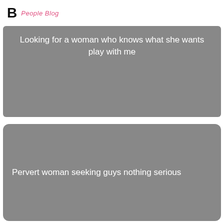B People Blog
Looking for a woman who knows what she wants play with me
Pervert woman seeking guys nothing serious